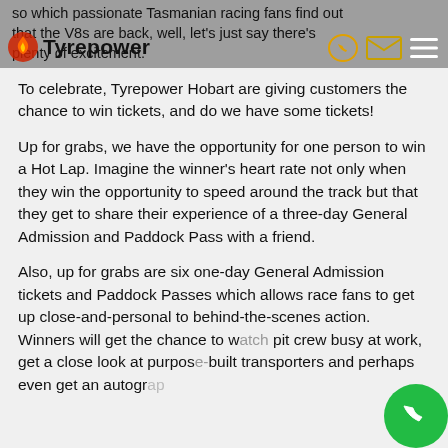so when passionate Tasmanian racing fans find out that the V8s are back, well, let’s just say there’s plenty of excitement. [Tyrepower logo header]
To celebrate, Tyrepower Hobart are giving customers the chance to win tickets, and do we have some tickets!
Up for grabs, we have the opportunity for one person to win a Hot Lap. Imagine the winner’s heart rate not only when they win the opportunity to speed around the track but that they get to share their experience of a three-day General Admission and Paddock Pass with a friend.
Also, up for grabs are six one-day General Admission tickets and Paddock Passes which allows race fans to get up close-and-personal to behind-the-scenes action. Winners will get the chance to watch pit crew busy at work, get a close look at purpose-built transporters and perhaps even get an autogr...